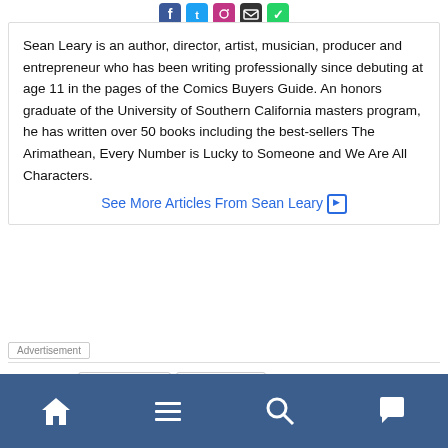[Figure (other): Social media icon buttons: Facebook (blue), Twitter (light blue), Instagram (pink/magenta), Email (dark/black), and another icon (teal/green)]
Sean Leary is an author, director, artist, musician, producer and entrepreneur who has been writing professionally since debuting at age 11 in the pages of the Comics Buyers Guide. An honors graduate of the University of Southern California masters program, he has written over 50 books including the best-sellers The Arimathean, Every Number is Lucky to Someone and We Are All Characters.
See More Articles From Sean Leary ▶
Advertisement
Tagged: AMBER HEARD  JOHNNY DEPP  JOHNNY DEPP AMBER HEARD TRIAL
[Figure (other): Bottom navigation bar with home, menu, search, and comment icons on a blue background]